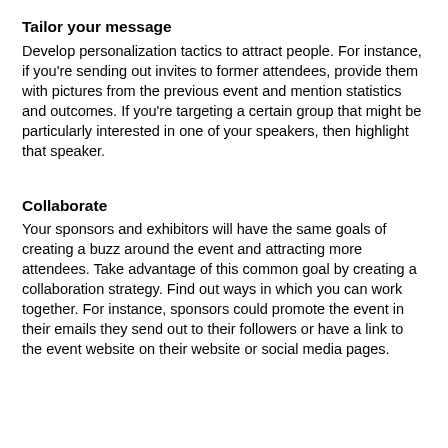Tailor your message
Develop personalization tactics to attract people. For instance, if you're sending out invites to former attendees, provide them with pictures from the previous event and mention statistics and outcomes. If you're targeting a certain group that might be particularly interested in one of your speakers, then highlight that speaker.
Collaborate
Your sponsors and exhibitors will have the same goals of creating a buzz around the event and attracting more attendees. Take advantage of this common goal by creating a collaboration strategy. Find out ways in which you can work together. For instance, sponsors could promote the event in their emails they send out to their followers or have a link to the event website on their website or social media pages.